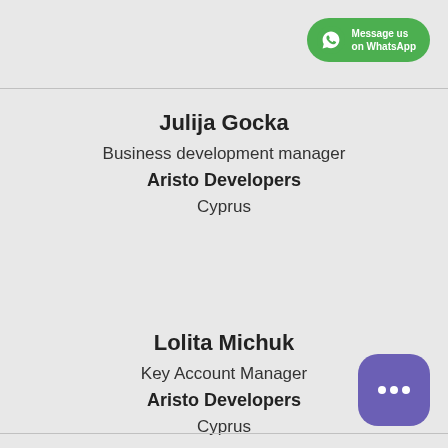[Figure (logo): WhatsApp green button with icon and text 'Message us on WhatsApp']
Julija Gocka
Business development manager
Aristo Developers
Cyprus
Lolita Michuk
Key Account Manager
Aristo Developers
Cyprus
[Figure (illustration): Purple chat bubble with three dots icon]